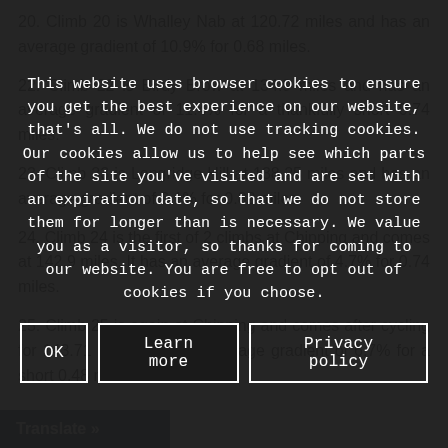20. Climb 20 is Whalley Nab at 120.72 miles and has an average gradient of 10.9% for 0.68 miles.
22. Climb 22 is Birdy Brow at 134.9 miles and has an average gradient of 11.4% for a thankfully short 0.74 miles.
23. Climb 23 is Longridge Hill at 138.25 miles and has an average gradient of 6.1% for 0.82 miles.
24. Climb 24 is the first of 2 climbs at Chipping and comes at 142.9 miles. It has an average gradient of 4.7% for 0.74 miles.
25. Climb 25 is again at Chipping and comes after cycling for 143.71 miles. With an average gradient of 6.7% for a short 0.48 miles, it's a ...
This website uses browser cookies to ensure you get the best experience on our website, that's all. We do not use tracking cookies. Our cookies allow us to help see which parts of the site you've visited and are set with an expiration date, so that we do not store them for longer than is necessary. We value you as a visitor, so thanks for coming to our website. You are free to opt out of cookies if you choose.
Translate »